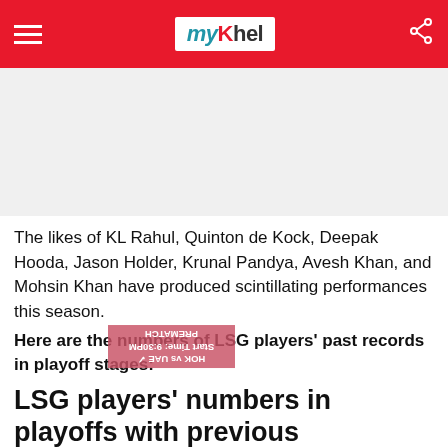myKhel — navigation header with hamburger menu and share icon
[Figure (other): Advertisement placeholder area (light gray background)]
The likes of KL Rahul, Quinton de Kock, Deepak Hooda, Jason Holder, Krunal Pandya, Avesh Khan, and Mohsin Khan have produced scintillating performances this season.
Here are the numbers of LSG players' past records in playoff stages:
LSG players' numbers in playoffs with previous franchises
[Figure (photo): Dark photo showing a cricket player wearing a teal/cyan cap, partially visible at the bottom of the page]